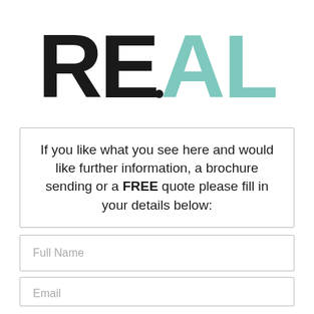[Figure (logo): REAL logo with RE in black and AL in teal/mint color]
If you like what you see here and would like further information, a brochure sending or a FREE quote please fill in your details below:
Full Name
Email